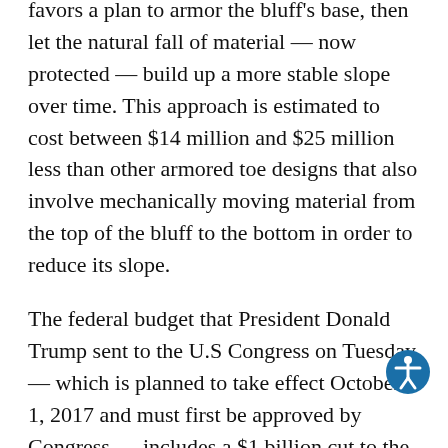favors a plan to armor the bluff's base, then let the natural fall of material — now protected — build up a more stable slope over time. This approach is estimated to cost between $14 million and $25 million less than other armored toe designs that also involve mechanically moving material from the top of the bluff to the bottom in order to reduce its slope.
The federal budget that President Donald Trump sent to the U.S Congress on Tuesday — which is planned to take effect October 1, 2017 and must first be approved by Congress — includes a $1 billion cut to the Army Corps of Engineers, equal to 16.3 percent of the Corps' estimated fiscal year 2017 spending.
Funds for producing the Kenai bluff erosion's final feasibility report have already been allocated in the